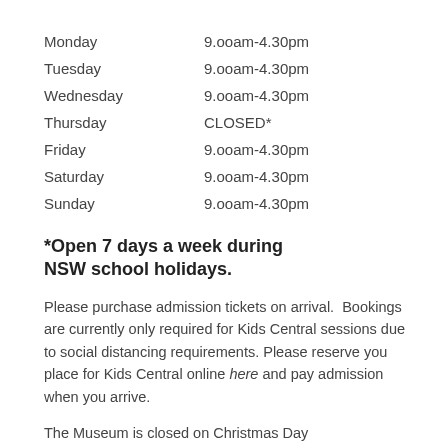| Monday | 9.ooam-4.30pm |
| Tuesday | 9.ooam-4.30pm |
| Wednesday | 9.ooam-4.30pm |
| Thursday | CLOSED* |
| Friday | 9.ooam-4.30pm |
| Saturday | 9.ooam-4.30pm |
| Sunday | 9.ooam-4.30pm |
*Open 7 days a week during NSW school holidays.
Please purchase admission tickets on arrival.  Bookings are currently only required for Kids Central sessions due to social distancing requirements. Please reserve you place for Kids Central online here and pay admission when you arrive.
The Museum is closed on Christmas Day